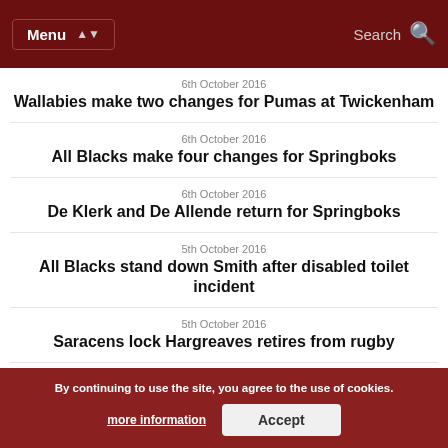Menu | Search
6th October 2016
Wallabies make two changes for Pumas at Twickenham
6th October 2016
All Blacks make four changes for Springboks
6th October 2016
De Klerk and De Allende return for Springboks
5th October 2016
All Blacks stand down Smith after disabled toilet incident
5th October 2016
Saracens lock Hargreaves retires from rugby
4th October 2016
Toulon hope Halfpenny will stay in France
France, Ireland or South Africa to host Rugby World Cup 2023
By continuing to use the site, you agree to the use of cookies.
more information
Accept